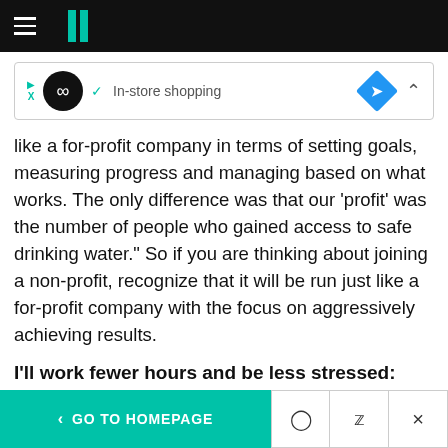HuffPost navigation header
[Figure (screenshot): Advertisement banner with in-store shopping label, infinity logo, diamond direction icon]
like a for-profit company in terms of setting goals, measuring progress and managing based on what works. The only difference was that our 'profit' was the number of people who gained access to safe drinking water." So if you are thinking about joining a non-profit, recognize that it will be run just like a for-profit company with the focus on aggressively achieving results.
I'll work fewer hours and be less stressed:
< GO TO HOMEPAGE